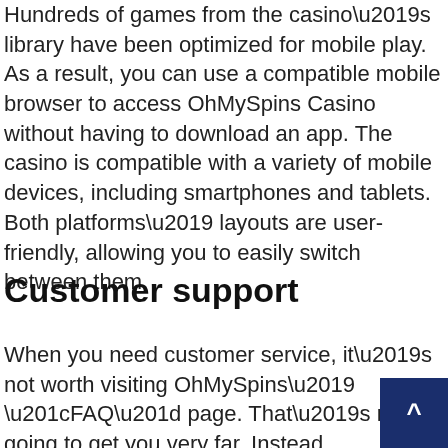Hundreds of games from the casino’s library have been optimized for mobile play. As a result, you can use a compatible mobile browser to access OhMySpins Casino without having to download an app. The casino is compatible with a variety of mobile devices, including smartphones and tablets. Both platforms’ layouts are user-friendly, allowing you to easily switch between them.
Customer support
When you need customer service, it’s not worth visiting OhMySpins’ “FAQ” page. That’s not going to get you very far. Instead, you’ll need to cont… customer service directly. You can do so by visiting